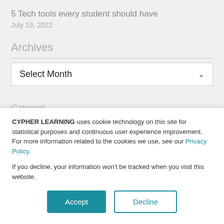5 Tech tools every student should have
July 19, 2022
Archives
Select Month
Categories
CYPHER LEARNING uses cookie technology on this site for statistical purposes and continuous user experience improvement. For more information related to the cookies we use, see our Privacy Policy.
If you decline, your information won't be tracked when you visit this website.
Accept
Decline